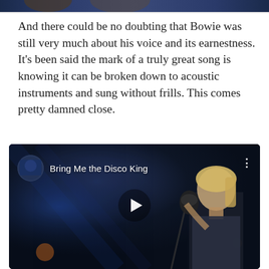[Figure (photo): Partial top strip of a concert or performance photo, cropped at top of page]
And there could be no doubting that Bowie was still very much about his voice and its earnestness. It's been said the mark of a truly great song is knowing it can be broken down to acoustic instruments and sung without frills. This comes pretty damned close.
[Figure (screenshot): Embedded YouTube video player showing a performer singing at a microphone with blonde hair in a dark blue-lit stage setting. Video title reads 'Bring Me the Disco King' with a play button in the center.]